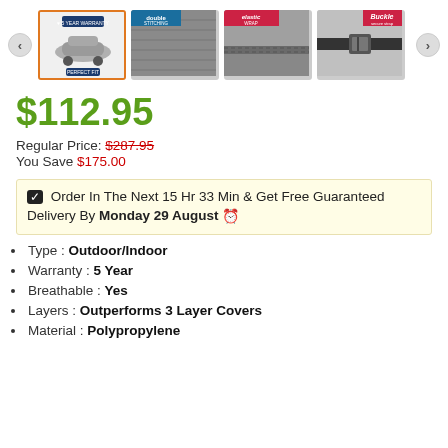[Figure (photo): Product image gallery showing 4 thumbnail images of a car cover product with navigation arrows. First thumbnail selected with orange border showing car cover overview with '5 Year Warranty' and 'Perfect Fit' text. Second shows fabric texture. Third shows elastic hem detail. Fourth shows buckle strap.]
$112.95
Regular Price: $287.95
You Save $175.00
✔ Order In The Next 15 Hr 33 Min & Get Free Guaranteed Delivery By Monday 29 August ⊙
Type : Outdoor/Indoor
Warranty : 5 Year
Breathable : Yes
Layers : Outperforms 3 Layer Covers
Material : Polypropylene